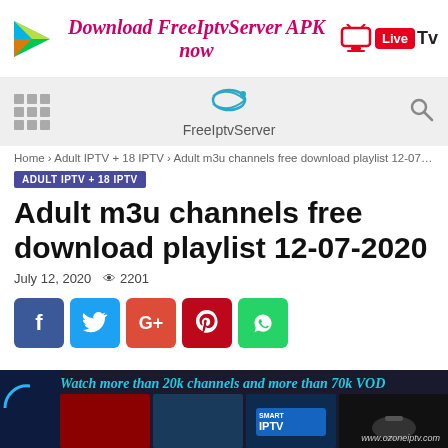[Figure (infographic): Top banner with Google Play icon, 'Download FreeIptvServer APK now' text in bold italic magenta, and Live TV badge]
[Figure (infographic): Navigation bar with grid menu icon, FreeIptvServer logo with swirl icon, and search magnifier icon]
Home › Adult IPTV + 18 IPTV › Adult m3u channels free download playlist 12-07-2020
ADULT IPTV + 18 IPTV
Adult m3u channels free download playlist 12-07-2020
July 12, 2020   👁 2201
[Figure (infographic): Social share buttons: Facebook (blue), Twitter (light blue), Google+ (red), Pinterest (dark red), WhatsApp (green)]
[Figure (infographic): Bottom ad banner: dark background with logo, 'Watch more than 20k channels and more than 70k VOD' text in cyan italic bold, website URL www.ozoneiptv.com]